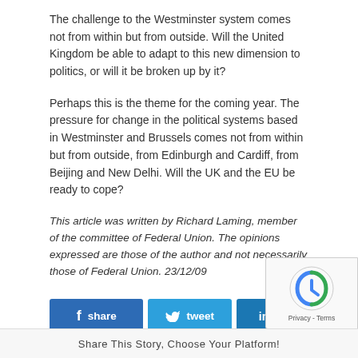The challenge to the Westminster system comes not from within but from outside. Will the United Kingdom be able to adapt to this new dimension to politics, or will it be broken up by it?
Perhaps this is the theme for the coming year. The pressure for change in the political systems based in Westminster and Brussels comes not from within but from outside, from Edinburgh and Cardiff, from Beijing and New Delhi. Will the UK and the EU be ready to cope?
This article was written by Richard Laming, member of the committee of Federal Union. The opinions expressed are those of the author and not necessarily those of Federal Union. 23/12/09
[Figure (infographic): Social share buttons: Facebook share, Twitter tweet, LinkedIn share, and an info button]
Share This Story, Choose Your Platform!